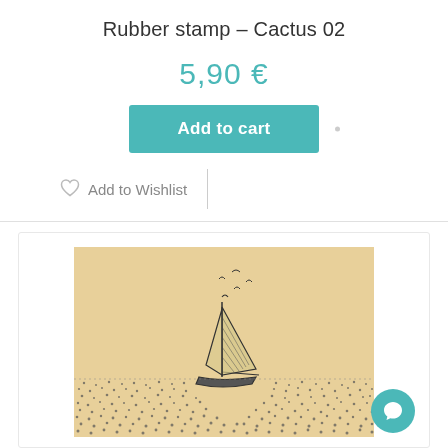Rubber stamp – Cactus 02
5,90 €
Add to cart
Add to Wishlist
[Figure (illustration): A rubber stamp illustration showing a sailboat on the water with birds flying above, printed on warm beige/tan paper background. The image has a vintage sketch style with dotted texturing for the water.]